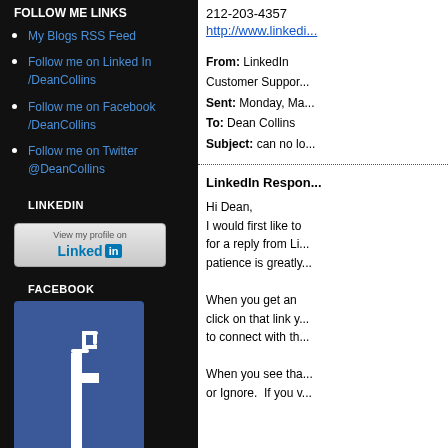FOLLOW ME LINKS
My Blogs RSS Feed
Follow me on Linked In /DeanCollins
Follow me on Facebook /DeanCollins
Follow me on Twitter @DeanCollins
LINKEDIN
[Figure (screenshot): LinkedIn View my profile on badge button]
FACEBOOK
[Figure (logo): Facebook logo - white F on blue background]
212-203-4357
http://www.linkedin...
From: LinkedIn Customer Support
Sent: Monday, Ma...
To: Dean Collins
Subject: can no lo...
LinkedIn Respon...
Hi Dean,
I would first like to... for a reply from Li... patience is greatly...
When you get an... click on that link y... to connect with th...
When you see tha... or Ignore. If you v...